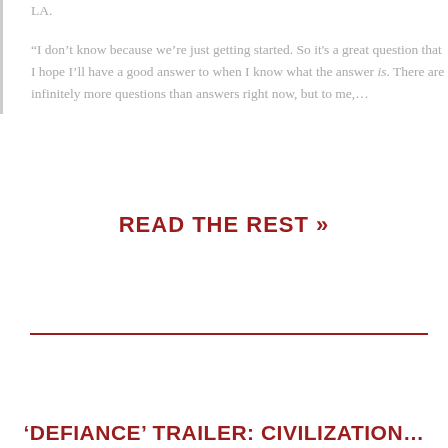LA.
“I don’t know because we’re just getting started. So it's a great question that I hope I’ll have a good answer to when I know what the answer is. There are infinitely more questions than answers right now, but to me,…
Read The Rest »
‘Defiance’ Trailer: Civilization…